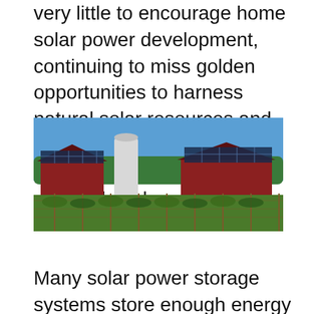very little to encourage home solar power development, continuing to miss golden opportunities to harness natural solar resources and team with existing utility programs to create a strong statewide solar вЂ¦.
[Figure (photo): Farm with red barns covered in solar panels, a white silo, and rows of grapevines or crops in the foreground under a blue sky with trees in the background.]
Many solar power storage systems store enough energy to power your home for